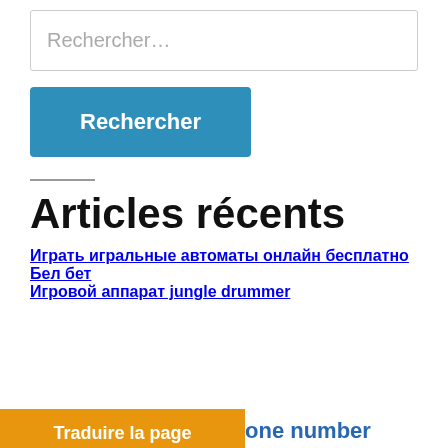Rechercher…
Rechercher
Articles récents
Играть игральные автоматы онлайн бесплатно
Бел бет
Игровой аппарат jungle drummer
Traduire la page
one number